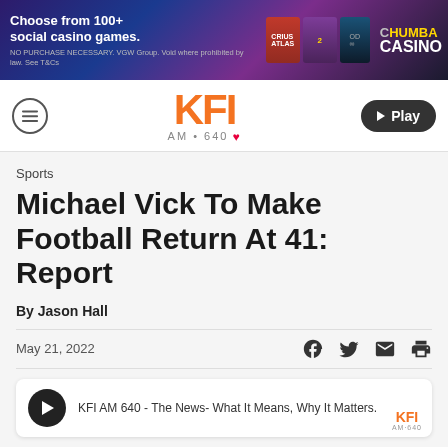[Figure (other): Chumba Casino advertisement banner: 'Choose from 100+ social casino games.' with game artwork and Chumba Casino logo]
KFI AM 640
Sports
Michael Vick To Make Football Return At 41: Report
By Jason Hall
May 21, 2022
KFI AM 640 - The News- What It Means, Why It Matters.